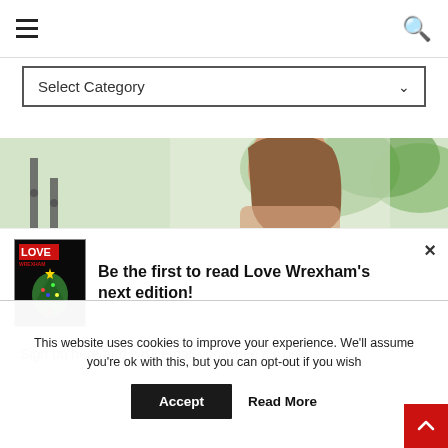☰  [search icon]
Select Category
[Figure (photo): Woman with long brown hair looking down, green foliage background, with vertical bar chart overlay on left side]
[Figure (screenshot): Love Wrexham magazine cover with Christmas tree]
Be the first to read Love Wrexham's next edition!
Sign up here and we'll email you when it's online
This website uses cookies to improve your experience. We'll assume you're ok with this, but you can opt-out if you wish
Accept   Read More